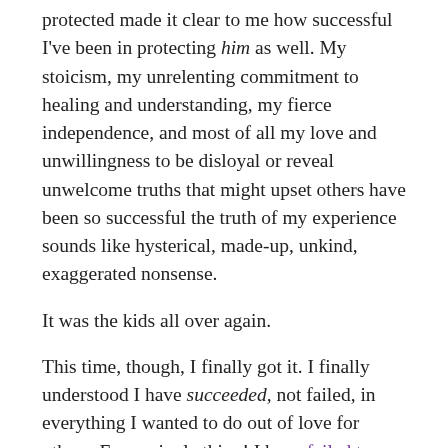protected made it clear to me how successful I've been in protecting him as well. My stoicism, my unrelenting commitment to healing and understanding, my fierce independence, and most of all my love and unwillingness to be disloyal or reveal unwelcome truths that might upset others have been so successful the truth of my experience sounds like hysterical, made-up, unkind, exaggerated nonsense.
It was the kids all over again.
This time, though, I finally got it. I finally understood I have succeeded, not failed, in everything I wanted to do out of love for others. Every single thing! I have failed to please, yes. I've failed the expectations of others. I've failed to be perfect. I've failed to keep the family glued together. I've failed in trying to force others to be happy and healthy. I've failed, most miserably of all, at protecting others from…